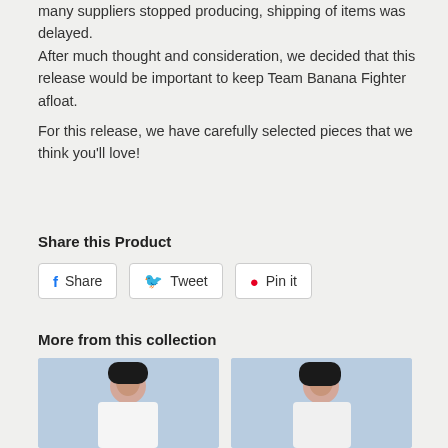many suppliers stopped producing, shipping of items was delayed. After much thought and consideration, we decided that this release would be important to keep Team Banana Fighter afloat.
For this release, we have carefully selected pieces that we think you'll love!
Share this Product
[Figure (other): Three social share buttons: Facebook Share, Twitter Tweet, Pinterest Pin it]
More from this collection
[Figure (photo): Photo of a woman in white top against light blue background]
[Figure (photo): Photo of a woman smiling in white top against light blue background]